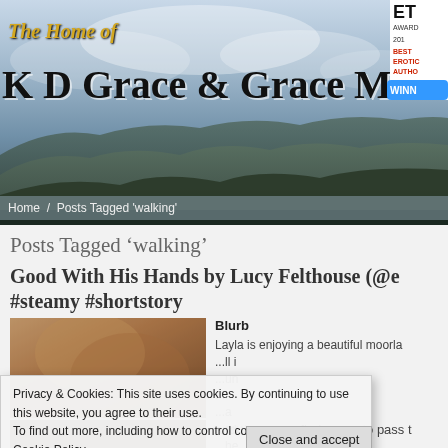[Figure (screenshot): Website header banner with mountain/moorland landscape background, showing 'The Home of K D Grace & Grace Marshall' title text in stylized font with an ET Awards winner badge in top right corner]
Home / Posts Tagged 'walking'
Posts Tagged ‘walking’
Good With His Hands by Lucy Felthouse (@e #steamy #shortstory
[Figure (photo): Book cover image showing partial face/skin close-up]
Blurb
Layla is enjoying a beautiful moorla...ll i...un...n...a...ou...he
Privacy & Cookies: This site uses cookies. By continuing to use this website, you agree to their use.
To find out more, including how to control cookies, see here: Cookie Policy
Close and accept
[Figure (photo): Second book cover image thumbnail]
and they soon find a way to pass t